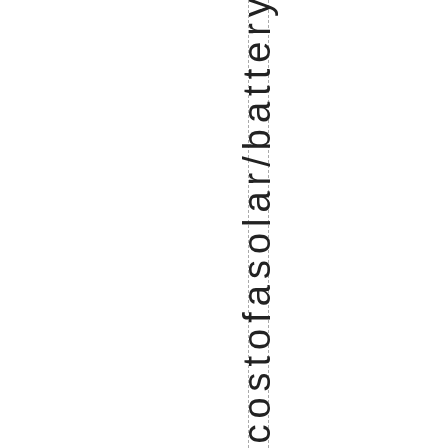ut 25% of the cost of a solar/battery